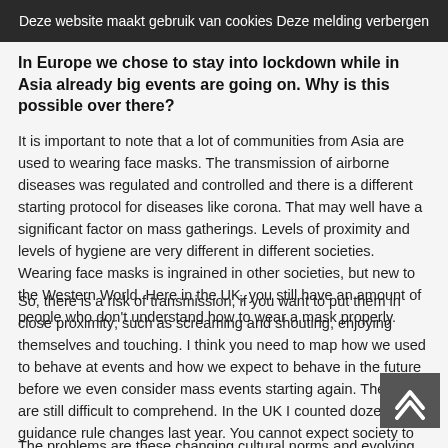Deze website maakt gebruik van cookies Deze melding verbergen
In Europe we chose to stay into lockdown while in Asia already big events are going on. Why is this possible over there?
It is important to note that a lot of communities from Asia are used to wearing face masks. The transmission of airborne diseases was regulated and controlled and there is a different starting protocol for diseases like corona. That may well have a significant factor on mass gatherings. Levels of proximity and levels of hygiene are very different in different societies. Wearing face masks is ingrained in other societies, but new to the Western World. Here in the UK, you still have an amount of people who don't understand how to wear a mask properly.
So, there is a risk of transmission, if you want to put them in close proximity; such as screaming and shouting, enjoying themselves and touching. I think you need to map how we used to behave at events and how we expect to behave in the future before we even consider mass events starting again. The rules are still difficult to comprehend. In the UK I counted dozens of guidance rule changes last year. You cannot expect society to know the norms anymore, and these rules are still changing.
The problems are these changing cultural norms and evolving rules of